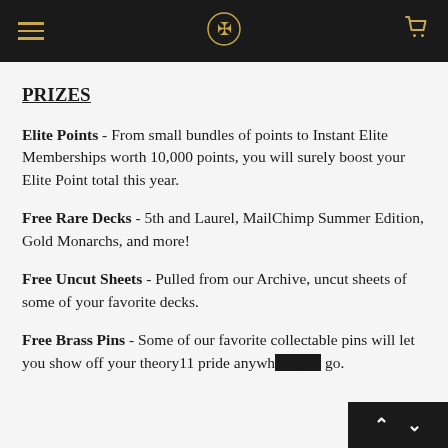theory11 navigation header with hamburger menu, logo, and cart icon
PRIZES
Elite Points - From small bundles of points to Instant Elite Memberships worth 10,000 points, you will surely boost your Elite Point total this year.
Free Rare Decks - 5th and Laurel, MailChimp Summer Edition, Gold Monarchs, and more!
Free Uncut Sheets - Pulled from our Archive, uncut sheets of some of your favorite decks.
Free Brass Pins - Some of our favorite collectable pins will let you show off your theory11 pride anywh... go.